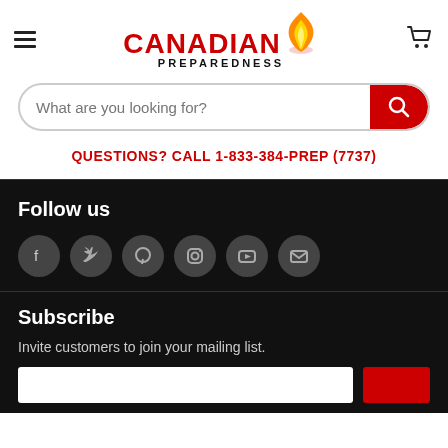[Figure (logo): Canadian Preparedness logo with red CANADIAN text, black PREPAREDNESS text, and an orange flame icon]
What are you looking for?
QUESTIONS? CALL 1-833-384-PREP (7737)
Follow us
[Figure (infographic): Social media icons: Facebook, Twitter, Pinterest, Instagram, YouTube, Email — all in dark grey circles]
Subscribe
Invite customers to join your mailing list.